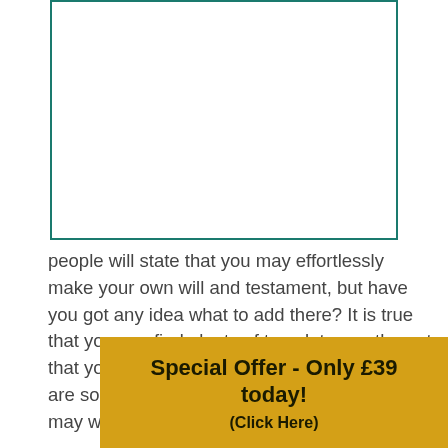[Figure (other): Empty bordered box with teal/green border, likely placeholder for an image]
people will state that you may effortlessly make your own will and testament, but have you got any idea what to add there? It is true that you can find plenty of templates on the net that you can use, but what will occur if there are some properties or inheritance that you may want t... your in...
Special Offer - Only £39 today! (Click Here)